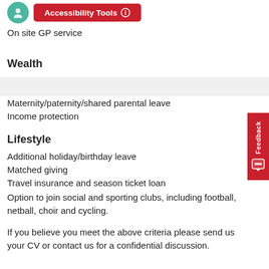[Figure (other): Green circular icon and red Accessibility Tools button at top of page]
On site GP service
Wealth
Maternity/paternity/shared parental leave
Income protection
Lifestyle
Additional holiday/birthday leave
Matched giving
Travel insurance and season ticket loan
Option to join social and sporting clubs, including football, netball, choir and cycling.
If you believe you meet the above criteria please send us your CV or contact us for a confidential discussion.
(partial text cut off at bottom)